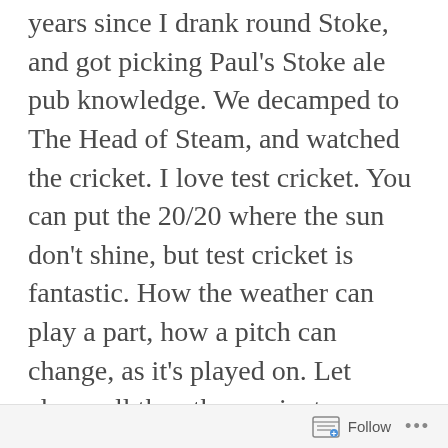years since I drank round Stoke, and got picking Paul's Stoke ale pub knowledge. We decamped to The Head of Steam, and watched the cricket. I love test cricket. You can put the 20/20 where the sun don't shine, but test cricket is fantastic. How the weather can play a part, how a pitch can change, as it's played on. Let alone, all the other variants. There's no other game like it. The Lunch interval led to the channel being changed, and we headed off down to Kilda. I had a right shock in here. My name got called, and I looked round to be confronted by a lad, that I hadn't seen, since the old Kop terracing had gone. 24 years previously, in fact. Even with the glasses and grey hair. I
Follow